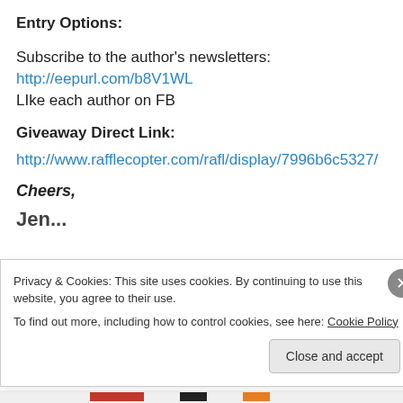Entry Options:
Subscribe to the author's newsletters:
http://eepurl.com/b8V1WL
LIke each author on FB
Giveaway Direct Link:
http://www.rafflecopter.com/rafl/display/7996b6c5327/
Cheers,
Jen...
Privacy & Cookies: This site uses cookies. By continuing to use this website, you agree to their use. To find out more, including how to control cookies, see here: Cookie Policy
Close and accept